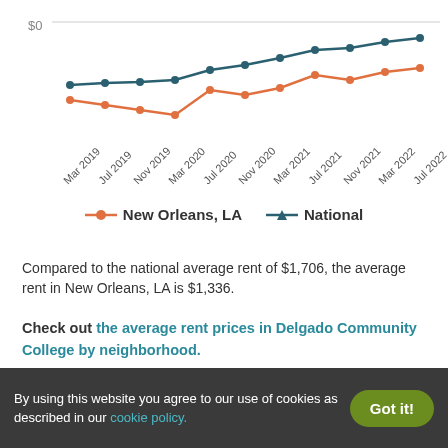[Figure (line-chart): Average rent over time]
Compared to the national average rent of $1,706, the average rent in New Orleans, LA is $1,336.
Check out the average rent prices in Delgado Community College by neighborhood.
$$$$ Most Expensive Rental
By using this website you agree to our use of cookies as described in our cookie policy.